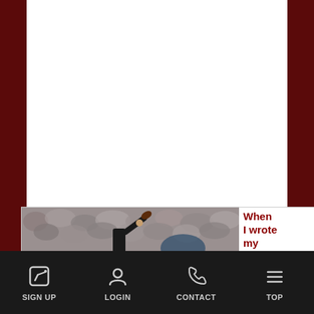[Figure (screenshot): Mobile website screenshot with dark red sidebar background, white main content area, a partial article preview at the bottom showing a football player throwing a pass with crowd in the background, and red text 'When I wrote my NFL']
When I wrote my NFL
SIGN UP   LOGIN   CONTACT   TOP